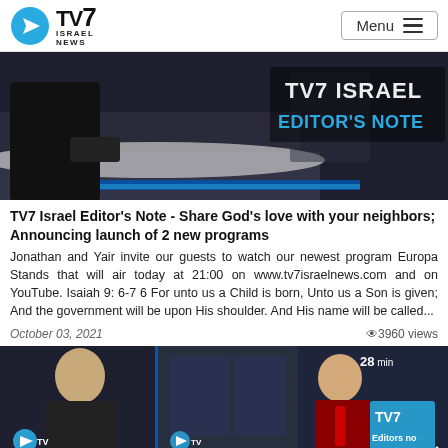TV7 Israel News | Menu
[Figure (screenshot): TV7 Israel Editor's Note news studio hero image with text overlay]
TV7 Israel Editor's Note - Share God's love with your neighbors; Announcing launch of 2 new programs
Jonathan and Yair invite our guests to watch our newest program Europa Stands that will air today at 21:00 on www.tv7israelnews.com and on YouTube. Isaiah 9: 6-7 6 For unto us a Child is born, Unto us a Son is given; And the government will be upon His shoulder. And His name will be called...
October 03, 2021   👁3960 views
[Figure (screenshot): TV7 Israel news thumbnail showing two male anchors in a studio with TV7 Editors note overlay and 28 min badge]